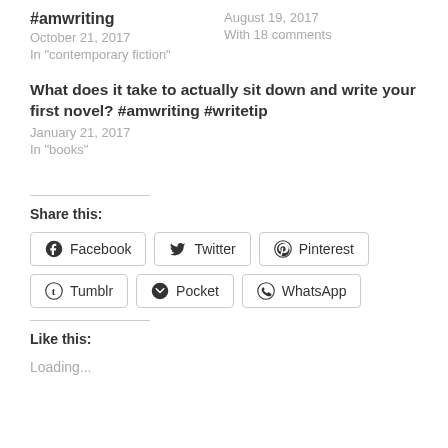#amwriting
October 21, 2017
In "contemporary fiction"
August 19, 2017
With 18 comments
What does it take to actually sit down and write your first novel? #amwriting #writetip
January 21, 2017
In "books"
Share this:
Facebook  Twitter  Pinterest  Tumblr  Pocket  WhatsApp
Like this:
Loading...